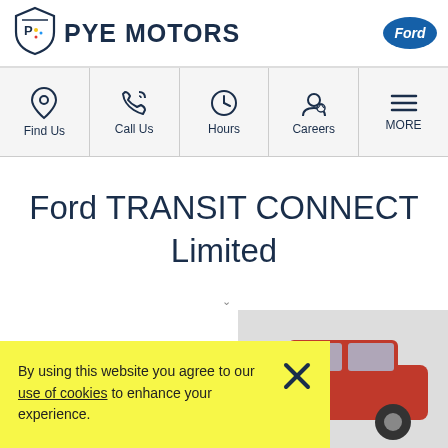[Figure (logo): Pye Motors shield logo with stylized P and dots, navy color]
PYE MOTORS
[Figure (logo): Ford oval logo in blue]
[Figure (infographic): Navigation bar with Find Us, Call Us, Hours, Careers, MORE icons]
Ford TRANSIT CONNECT Limited
By using this website you agree to our use of cookies to enhance your experience.
[Figure (photo): Red Ford Transit Connect vehicle, front corner view]